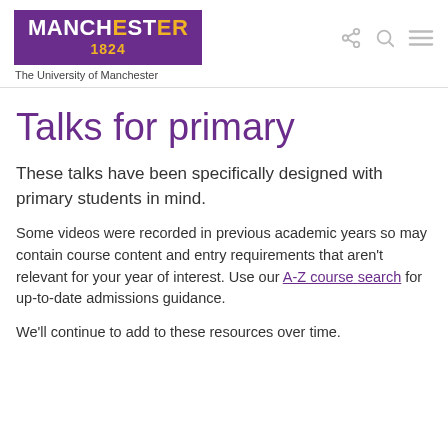[Figure (logo): University of Manchester logo — purple rectangle with white bold text reading MANCHESTER with highlighted letters E, E, R in yellow, and '1824' in yellow below, with subtitle 'The University of Manchester']
Talks for primary
These talks have been specifically designed with primary students in mind.
Some videos were recorded in previous academic years so may contain course content and entry requirements that aren't relevant for your year of interest. Use our A-Z course search for up-to-date admissions guidance.
We'll continue to add to these resources over time.